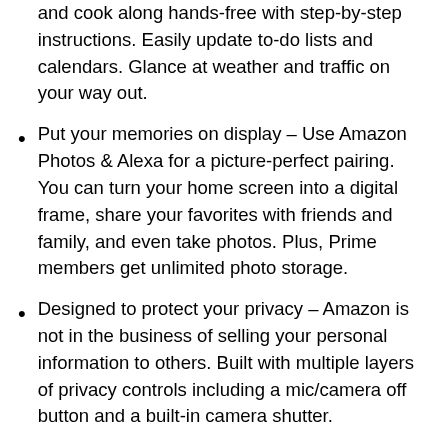and cook along hands-free with step-by-step instructions. Easily update to-do lists and calendars. Glance at weather and traffic on your way out.
Put your memories on display – Use Amazon Photos & Alexa for a picture-perfect pairing. You can turn your home screen into a digital frame, share your favorites with friends and family, and even take photos. Plus, Prime members get unlimited photo storage.
Designed to protect your privacy – Amazon is not in the business of selling your personal information to others. Built with multiple layers of privacy controls including a mic/camera off button and a built-in camera shutter.